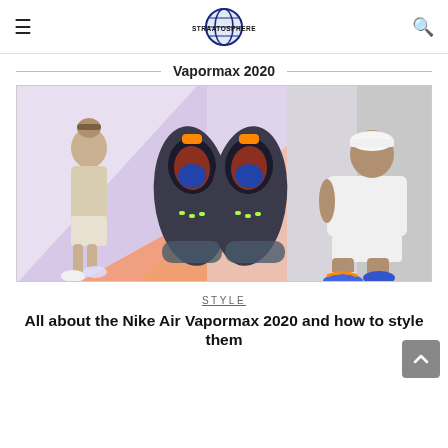STRAATOSPHERE
Vapormax 2020
[Figure (photo): Nike Air Vapormax 2020 shoes shown from above between two men wearing Nike apparel, on a peach and lavender geometric background]
STYLE
All about the Nike Air Vapormax 2020 and how to style them